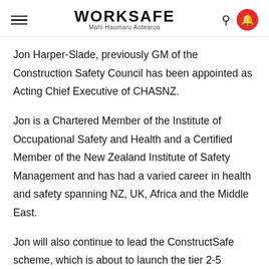WORKSAFE Mahi Haumaru Aotearoa
Jon Harper-Slade, previously GM of the Construction Safety Council has been appointed as Acting Chief Executive of CHASNZ.
Jon is a Chartered Member of the Institute of Occupational Safety and Health and a Certified Member of the New Zealand Institute of Safety Management and has had a varied career in health and safety spanning NZ, UK, Africa and the Middle East.
Jon will also continue to lead the ConstructSafe scheme, which is about to launch the tier 2-5